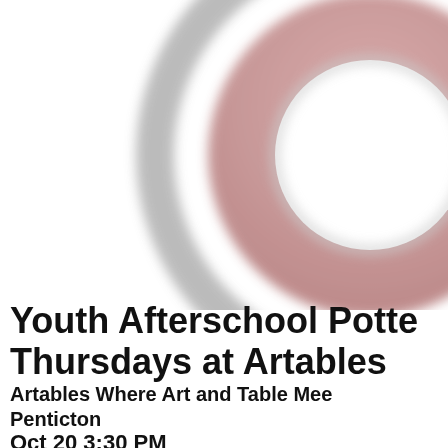[Figure (logo): Partial circular logo with gray outer ring and pinkish-mauve inner fill, cropped at right and top edges]
Youth Afterschool Pottery Thursdays at Artables
Artables Where Art and Table Meet Penticton
Oct 20 3:30 PM